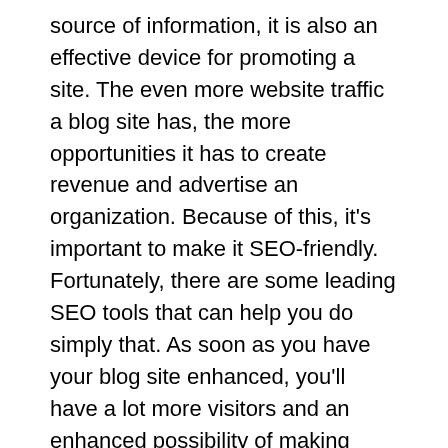source of information, it is also an effective device for promoting a site. The even more website traffic a blog site has, the more opportunities it has to create revenue and advertise an organization. Because of this, it's important to make it SEO-friendly. Fortunately, there are some leading SEO tools that can help you do simply that. As soon as you have your blog site enhanced, you'll have a lot more visitors and an enhanced possibility of making more money. Go here
The main goal of blogging is to create search engine traffic. Increasing traffic will certainly lead to more readers, which means more chances for earning money. Yet one of the most important reason to blog site is to raise your web site's